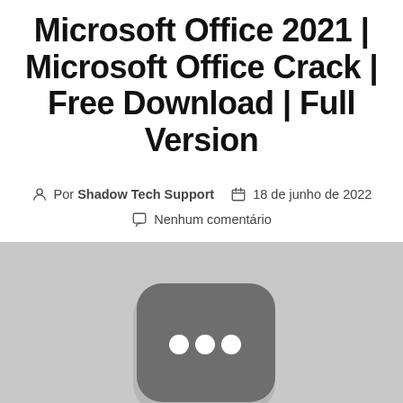Microsoft Office 2021 | Microsoft Office Crack | Free Download | Full Version
Por Shadow Tech Support  18 de junho de 2022  Nenhum comentário
[Figure (screenshot): Grayscale image showing a dark rounded-rectangle icon with three white dots arranged horizontally, on a light gray background — suggesting a Microsoft Office application icon or similar.]